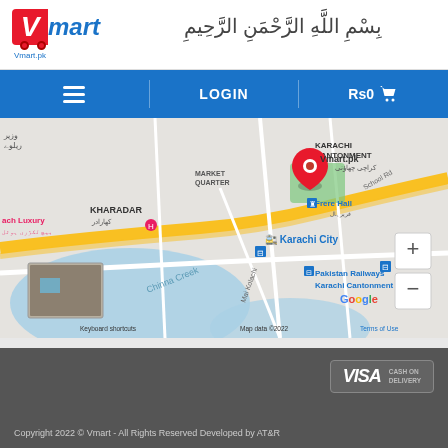[Figure (logo): Vmart logo with red V box and blue mart text, with Vmart.pk subtitle and shopping cart wheels]
[Figure (other): Arabic Bismillah calligraphy text in center of header]
≡  LOGIN  Rs0 🛒
[Figure (map): Google Maps showing Karachi area with Vmart.pk pin marker near Frere Hall, showing Kharadar, Market Quarter, Karachi Cantonment, Pakistan Railways Karachi Cantonment, Chinna Creek. Map data ©2022. Keyboard shortcuts. Terms of Use.]
[Figure (logo): VISA and CASH ON DELIVERY payment badges]
Copyright 2022 © Vmart - All Rights Reserved Developed by AT&R